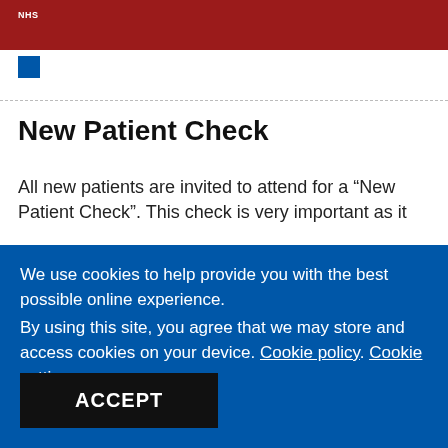NHS
New Patient Check
All new patients are invited to attend for a “New Patient Check”. This check is very important as it
We use cookies to help provide you with the best possible online experience.
By using this site, you agree that we may store and access cookies on your device. Cookie policy. Cookie settings.
ACCEPT